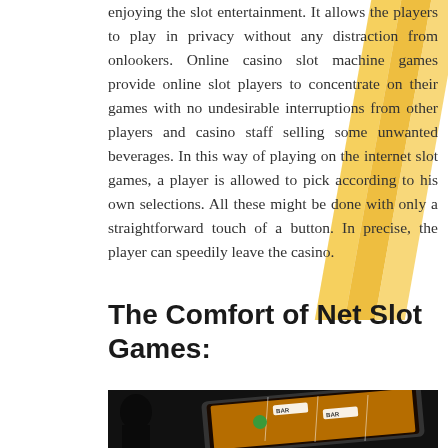enjoying the slot entertainment. It allows the players to play in privacy without any distraction from onlookers. Online casino slot machine games provide online slot players to concentrate on their games with no undesirable interruptions from other players and casino staff selling some unwanted beverages. In this way of playing on the internet slot games, a player is allowed to pick according to his own selections. All these might be done with only a straightforward touch of a button. In precise, the player can speedily leave the casino.
The Comfort of Net Slot Games:
[Figure (photo): A person in silhouette looking at a tablet device displaying a slot machine game with colorful reels showing BAR symbols and fruit, against a dark background.]